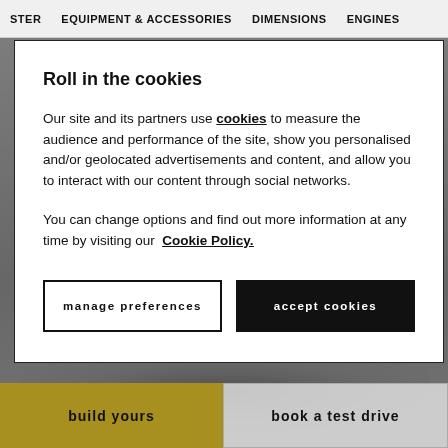STER   EQUIPMENT & ACCESSORIES   DIMENSIONS   ENGINES
[Figure (screenshot): Blurred background showing a dark vehicle on a grey background]
Roll in the cookies
Our site and its partners use cookies to measure the audience and performance of the site, show you personalised and/or geolocated advertisements and content, and allow you to interact with our content through social networks.
You can change options and find out more information at any time by visiting our Cookie Policy.
manage preferences
accept cookies
build yours
book a test drive